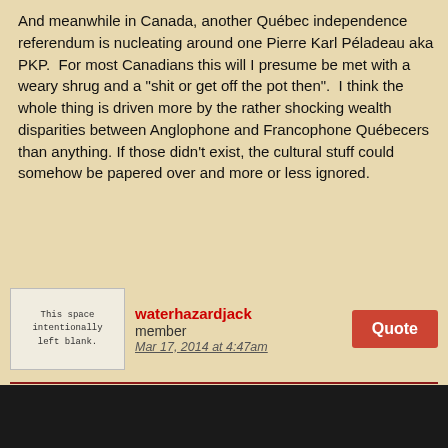And meanwhile in Canada, another Québec independence referendum is nucleating around one Pierre Karl Péladeau aka PKP. For most Canadians this will I presume be met with a weary shrug and a "shit or get off the pot then". I think the whole thing is driven more by the rather shocking wealth disparities between Anglophone and Francophone Québecers than anything. If those didn't exist, the cultural stuff could somehow be papered over and more or less ignored.
[Figure (illustration): Avatar placeholder image with text 'This space intentionally left blank.']
waterhazardjack
member
Mar 17, 2014 at 4:47am
patricklondon said:
Sorry, here it is again:
www.theguardian.com/world/2014/mar/10/ukraine-and-west-hot-air-hypocrisy-crimea-russia
Thanks, Patrick, that's an excellent article that more or less sums up my own take on the current situation in Ukraine.
I'm afraid I have to respectfully disagree completely with Fumobici's